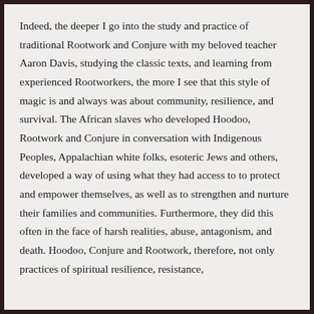Indeed, the deeper I go into the study and practice of traditional Rootwork and Conjure with my beloved teacher Aaron Davis, studying the classic texts, and learning from experienced Rootworkers, the more I see that this style of magic is and always was about community, resilience, and survival. The African slaves who developed Hoodoo, Rootwork and Conjure in conversation with Indigenous Peoples, Appalachian white folks, esoteric Jews and others, developed a way of using what they had access to to protect and empower themselves, as well as to strengthen and nurture their families and communities. Furthermore, they did this often in the face of harsh realities, abuse, antagonism, and death. Hoodoo, Conjure and Rootwork, therefore, not only practices of spiritual resilience, resistance, and protection, but continuation and living...